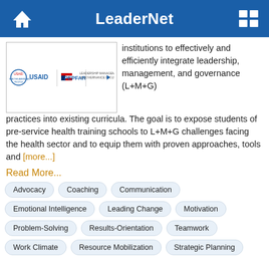LeaderNet
[Figure (logo): USAID, PEPFAR, and Leadership Management & Governance Project logos inside a bordered box]
institutions to effectively and efficiently integrate leadership, management, and governance (L+M+G) practices into existing curricula. The goal is to expose students of pre-service health training schools to L+M+G challenges facing the health sector and to equip them with proven approaches, tools and [more...]
Read More...
Advocacy
Coaching
Communication
Emotional Intelligence
Leading Change
Motivation
Problem-Solving
Results-Orientation
Teamwork
Work Climate
Resource Mobilization
Strategic Planning